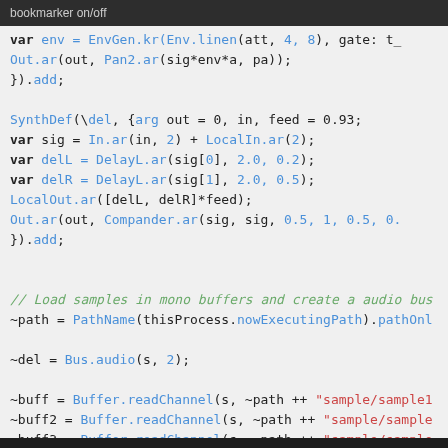bookmarker on/off
SuperCollider code snippet showing SynthDef definitions and buffer loading
var env = EnvGen.kr(Env.linen(att, 4, 8), gate: t_
    Out.ar(out, Pan2.ar(sig*env*a, pa));
}).add;

SynthDef(\del, {arg out = 0, in, feed = 0.93;
    var sig = In.ar(in, 2) + LocalIn.ar(2);
    var delL = DelayL.ar(sig[0], 2.0, 0.2);
    var delR = DelayL.ar(sig[1], 2.0, 0.5);
    LocalOut.ar([delL, delR]*feed);
    Out.ar(out, Compander.ar(sig, sig, 0.5, 1, 0.5, 0.
}).add;


// Load samples in mono buffers and create a audio bus
~path = PathName(thisProcess.nowExecutingPath).pathOnl

~del = Bus.audio(s, 2);

~buff = Buffer.readChannel(s, ~path ++ "sample/sample1
~buff2 = Buffer.readChannel(s, ~path ++ "sample/sample
~buff3 = Buffer.readChannel(s, ~path ++ "sample/sample
~buff4 = Buffer.readChannel(s, ~path ++ "sample/sample
~buff5 = Buffer.readChannel(s, ~path ++ "sample/sample